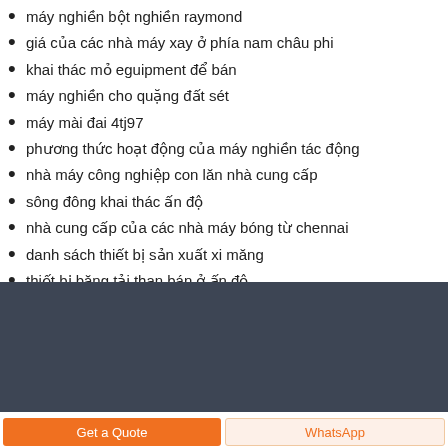máy nghiền bột nghiền raymond
giá của các nhà máy xay ở phía nam châu phi
khai thác mỏ eguipment để bán
máy nghiền cho quặng đất sét
máy mài đai 4tj97
phương thức hoạt động của máy nghiền tác động
nhà máy công nghiệp con lăn nhà cung cấp
sông đông khai thác ấn độ
nhà cung cấp của các nhà máy bóng từ chennai
danh sách thiết bị sản xuất xi măng
thiết bị băng tải than bán ở ấn độ
[Figure (other): Dark gray background section]
Get a Quote
WhatsApp